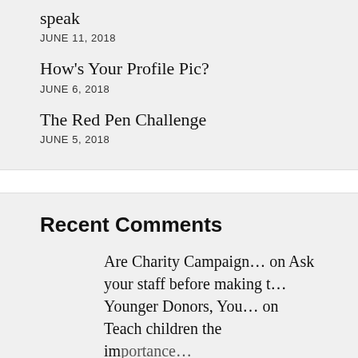speak
JUNE 11, 2018
How's Your Profile Pic?
JUNE 6, 2018
The Red Pen Challenge
JUNE 5, 2018
Recent Comments
Are Charity Campaign… on Ask your staff before making t…
Younger Donors, You… on Teach children the importance…